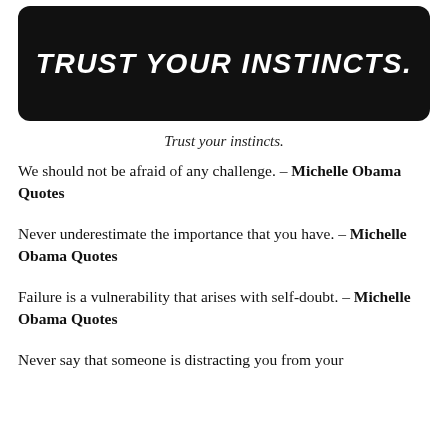[Figure (illustration): Black banner with bold italic white text reading TRUST YOUR INSTINCTS.]
Trust your instincts.
We should not be afraid of any challenge. – Michelle Obama Quotes
Never underestimate the importance that you have. – Michelle Obama Quotes
Failure is a vulnerability that arises with self-doubt. – Michelle Obama Quotes
Never say that someone is distracting you from your